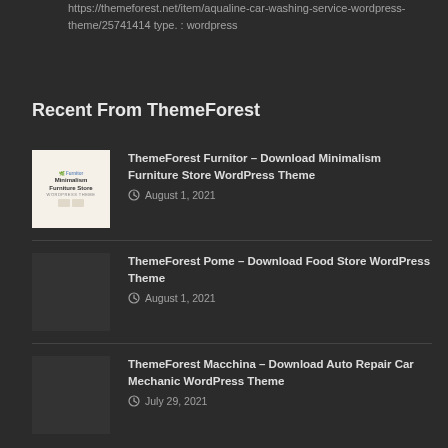https://themeforest.net/item/aqualine-car-washing-service-wordpress-theme/25741414 type. : wordpress
Recent From ThemeForest
ThemeForest Furnitor – Download Minimalism Furniture Store WordPress Theme
August 1, 2021
ThemeForest Pome – Download Food Store WordPress Theme
August 1, 2021
ThemeForest Macchina – Download Auto Repair Car Mechanic WordPress Theme
July 29, 2021